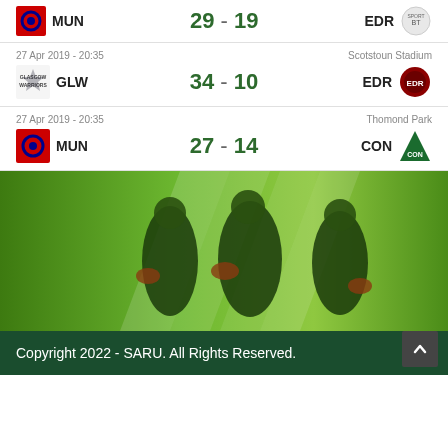MUN  29 - 19  EDR (partial top row)
27 Apr 2019 - 20:35  |  Scotstoun Stadium
GLW 34 - 10 EDR
27 Apr 2019 - 20:35  |  Thomond Park
MUN 27 - 14 CON
[Figure (photo): Three South African rugby sevens players in dark green Springbok jerseys holding rugby balls, promotional banner image with diagonal green slash design and SARU branding]
Copyright 2022 - SARU. All Rights Reserved.